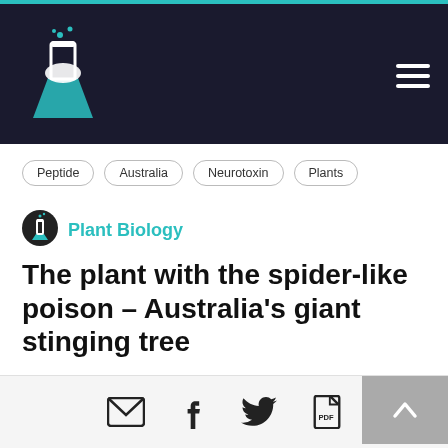Plant Biology science article header with logo and navigation
Peptide
Australia
Neurotoxin
Plants
Plant Biology
The plant with the spider-like poison – Australia's giant stinging tree
Stings from Australia's Dendrocnide species of plants cause pain lasting for months. In a new study, Gilding and colleagues have now found out how – these plants secrete neurotoxins that resemble spider venom, interrupting your
Share icons: email, facebook, twitter, pdf